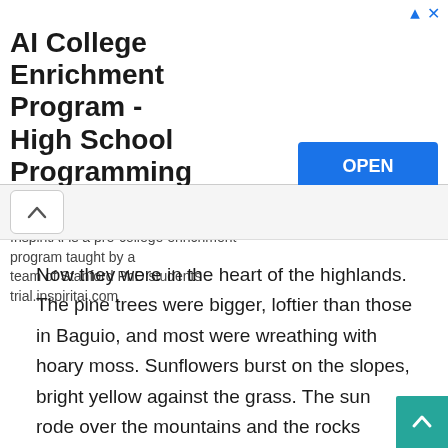[Figure (other): Advertisement banner for AI College Enrichment Program - High School Programming Course by InspiritAI. Contains title text, description 'InspiritAI is a pre-college enrichment program taught by a team of Stanford PhD students trial.inspiritai.com', and a blue OPEN button. Top right has navigation arrow and X close icons.]
Now they were in the heart of the highlands. The pine trees were bigger, loftier than those in Baguio, and most were wreathing with hoary moss. Sunflowers burst on the slopes, bright yellow against the grass. The sun rode over the mountains and the rocks shone – and over everything, the mist, as fine as powder, danced.
The bus swung around the curves and it paused, twice or thrice to allow them to take coffee. It was past noon when they reached the feral fringes of the Ifugao country. The trip had not been exhausting, for there was much to see. Sam Christie,